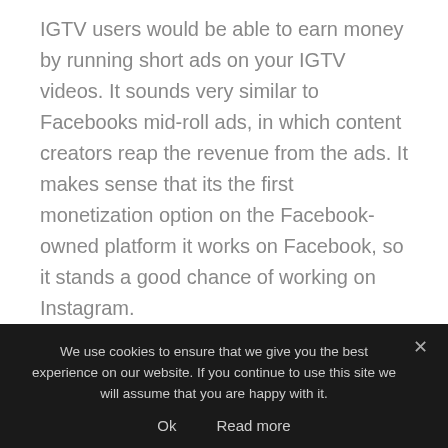IGTV users would be able to earn money by running short ads on your IGTV videos. It sounds very similar to Facebooks mid-roll ads, in which content creators reap the revenue from the ads. It makes sense that its the first monetization option on the Facebook-owned platform it works on Facebook, so it stands a good chance of working on Instagram.
[Read: YouTube claims to share billions in ad money with creators, unlike Instagram]
Up to now, all the money Instagrammers make comes from sponsorships with outside brands, which...
We use cookies to ensure that we give you the best experience on our website. If you continue to use this site we will assume that you are happy with it.
Ok    Read more